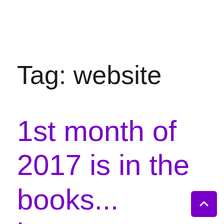Tag: website
1st month of 2017 is in the books... how are your goals?